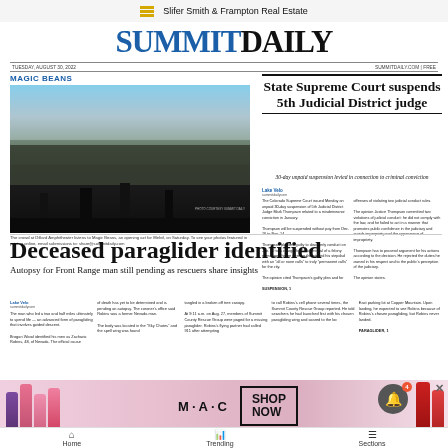Slifer Smith & Frampton Real Estate
SUMMIT DAILY
TUESDAY, AUGUST 30, 2022 | SUMMITDAILY.COM | FREE
MAGIC BEANS
[Figure (photo): Crowd at outdoor concert venue with performers on stage, viewed from behind the stage looking out at a large audience. Dillard Amphitheater, Magic Beans opening act for Melvil, Saturday.]
The crowd at Dillard Amphitheater listens to Magic Beans, an opening act for Melvil, on Saturday. To see your photos featured in print or online, email submissions to: share@summitdaily.com
State Supreme Court suspends 5th Judicial District judge
30-day unpaid suspension levied in connection to criminal conviction
Lake Velo
sumitdailycom

The Colorado Supreme Court issued Monday an unpaid 30-day suspension of 5th Judicial District Judge Mark Thompson related to a misdemeanor conviction in January.
Thompson will be suspended without pay from Dec. 16 to New 14.
Thompson pleaded guilty to disorderly conduct on Jan. 10 to a charge for the dismissal of a felony menacing charge after he threatened his stepdad with an "all or none calls" to truly "permanent calls" for the city "permanent calls" for the city.
The opinion cited Thompson's guilty plea and for

offenses of violating two judicial conduct rules.
The opinion Justice Thompson committed two violations of judicial conduct: he did not comply with the law, and he failed to act in a manner that promotes public confidence in the judiciary and avoids impropriety and the appearance of impropriety.
Thompson has to proceed argument for his actions according to the decision. He rejected the duties he owned in his respect and to the public's perception of the judiciary.
The opinion states.
SUSPENSION, 1
Deceased paraglider identified
Autopsy for Front Range man still pending as rescuers share insights
Lake Velo
summitdailycom

The man who led a two and half miles ultimately to spend life — an advanced form of paragliding that involves guided descent.

Brogan Wood identified his men as Zacharia Robins, 48, of Nevada. The official cause
of death has yet to be determined and is pending an autopsy. The coroner's office said Robins was a former Nevada man.
The body was located in the "Sky Chutes" and the spell wing was found
tangled in a broken off tree canopy.
At 9:11 a.m. on Aug. 27, members of Summit County Rescue Group were paged for a missing paraglider. Robins's flying partner had called 911 after attempting
to call Robins's cell phone several times, the Summit County Rescue Group reported. He told searchers he had launched first with his chosen paragliding wing and soared to the loc
East parking lot at Copper Mountain. Upon landing, he expected to see Robins because of Robins's chosen paragliding, but Robins never landed.
PARAGLIDER, 1
[Figure (photo): Advertisement for M·A·C cosmetics featuring lipsticks with Shop Now button]
Home | Trending | Sections